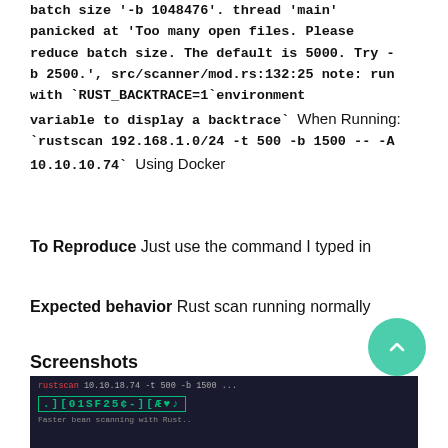batch size '-b 1048476'. thread 'main' panicked at 'Too many open files. Please reduce batch size. The default is 5000. Try -b 2500.', src/scanner/mod.rs:132:25 note: run with `RUST_BACKTRACE=1` environment variable to display a backtrace` When Running: `rustscan 192.168.1.0/24 -t 500 -b 1500 -- -A 10.10.10.74` Using Docker
To Reproduce Just use the command I typed in
Expected behavior Rust scan running normally
Screenshots
[Figure (screenshot): Terminal screenshot showing rustscan command output with green text on dark background]